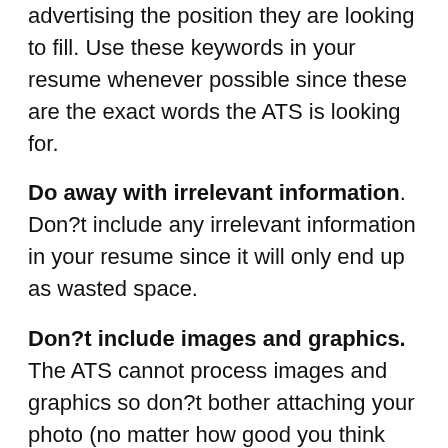advertising the position they are looking to fill. Use these keywords in your resume whenever possible since these are the exact words the ATS is looking for.
Do away with irrelevant information. Don?t include any irrelevant information in your resume since it will only end up as wasted space.
Don?t include images and graphics. The ATS cannot process images and graphics so don?t bother attaching your photo (no matter how good you think you look) or any logos and fancy monograms to your resume. They may even put your resume at a great disadvantage so use informative text instead.
Tailor your resume for each position. Invest some